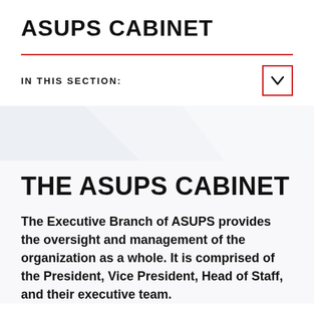ASUPS CABINET
IN THIS SECTION:
[Figure (other): Gray diagonal banner background image with subtle angular design]
THE ASUPS CABINET
The Executive Branch of ASUPS provides the oversight and management of the organization as a whole. It is comprised of the President, Vice President, Head of Staff, and their executive team.